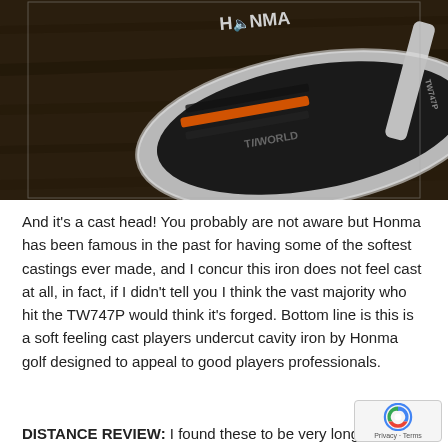[Figure (photo): Close-up photo of a Honma TW747P golf iron club head resting on a wooden surface. The club head is silver/chrome colored with black and orange accents. 'HONMA' branding visible at top, 'TIWORLD' text on the face, 'TW747P' on the shaft.]
And it's a cast head!  You probably are not aware but Honma has been famous in the past for having some of the softest castings ever made, and I concur this iron does not feel cast at all,  in fact, if I didn't tell you I think the vast majority who hit the TW747P would think it's forged.  Bottom line is this is a soft feeling cast players undercut cavity iron by Honma golf designed to appeal to good players professionals.
DISTANCE REVIEW: I found these to be very long,  longer